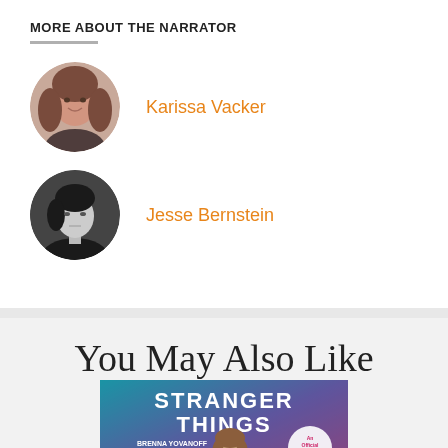MORE ABOUT THE NARRATOR
Karissa Vacker
Jesse Bernstein
You May Also Like
[Figure (photo): Book cover of Stranger Things by Brenna Yovanoff, New York Times Bestselling Author. An Official Stranger Things Novel. Cover shows a young woman with long hair in front of a teal/magenta textured background.]